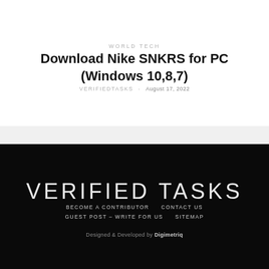WORLD TECH
Download Nike SNKRS for PC (Windows 10,8,7)
VERIFIEDTASKS · August 17, 2022
VERIFIED TASKS
BECOME A CONTRIBUTOR   CONTACT US   GUEST POST – WRITE FOR US   SITEMAP
Designed & Developed by Digimetriq